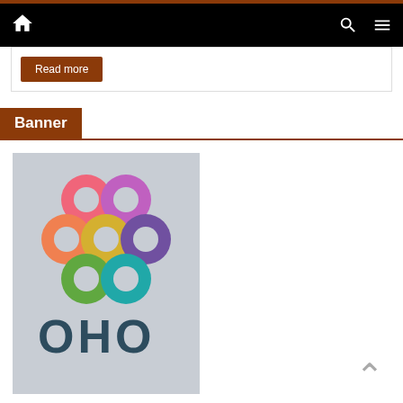Navigation bar with home, search, and menu icons
Read more
Banner
[Figure (logo): OHO logo with colorful rings arranged in a flower pattern (pink, purple, orange, yellow, violet, green, teal) above the text OHO on a light grey background]